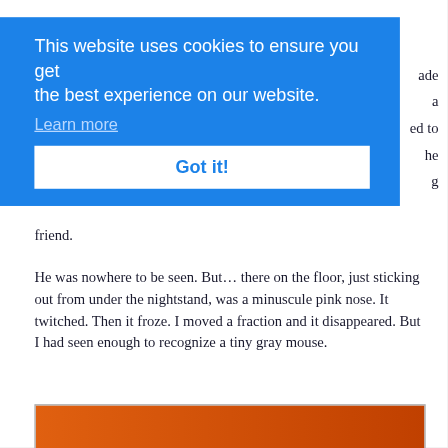[Figure (screenshot): Cookie consent banner overlay on a webpage. Blue background with white text reading 'This website uses cookies to ensure you get the best experience on our website.' with a 'Learn more' link and a white 'Got it!' button. Behind the banner, partial text of an article is visible on the right side with fragments: 'ade', 'a', 'ed to', 'he', 'g'.]
friend.
He was nowhere to be seen. But… there on the floor, just sticking out from under the nightstand, was a minuscule pink nose. It twitched. Then it froze. I moved a fraction and it disappeared. But I had seen enough to recognize a tiny gray mouse.
[Figure (photo): Partial view of a photo showing what appears to be a mouse or small animal against an orange/red background, cropped at the bottom of the page.]